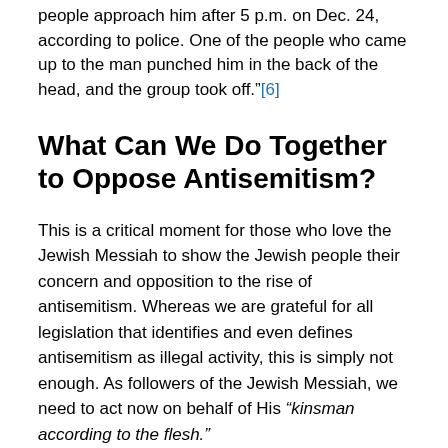people approach him after 5 p.m. on Dec. 24, according to police. One of the people who came up to the man punched him in the back of the head, and the group took off."[6]
What Can We Do Together to Oppose Antisemitism?
This is a critical moment for those who love the Jewish Messiah to show the Jewish people their concern and opposition to the rise of antisemitism. Whereas we are grateful for all legislation that identifies and even defines antisemitism as illegal activity, this is simply not enough. As followers of the Jewish Messiah, we need to act now on behalf of His “kinsman according to the flesh.”